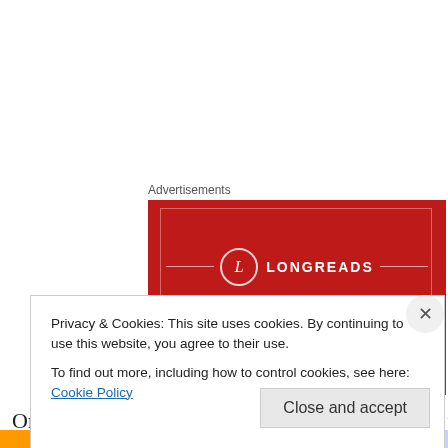Advertisements
[Figure (illustration): Longreads advertisement banner on red background with italic text: The best stories on the web – ours, and everyone else's.]
Once that was dry, I put a thin coat of gesso over the
Privacy & Cookies: This site uses cookies. By continuing to use this website, you agree to their use.
To find out more, including how to control cookies, see here: Cookie Policy
Close and accept